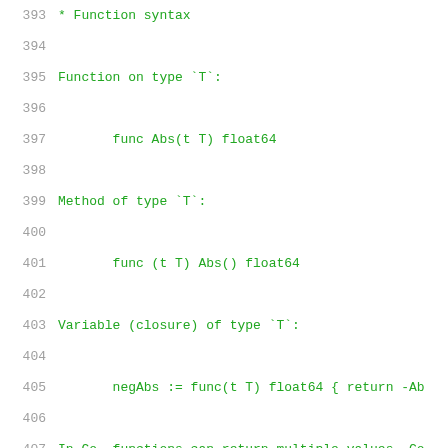393  * Function syntax
394
395  Function on type `T`:
396
397       func Abs(t T) float64
398
399  Method of type `T`:
400
401       func (t T) Abs() float64
402
403  Variable (closure) of type `T`:
404
405       negAbs := func(t T) float64 { return -Ab
406
407  In Go, functions can return multiple values. Co
408
409       func ReadByte() (c byte, err error)
410
411       c, err := ReadByte()
412       if err != nil { ... }
413
414  More about errors later.